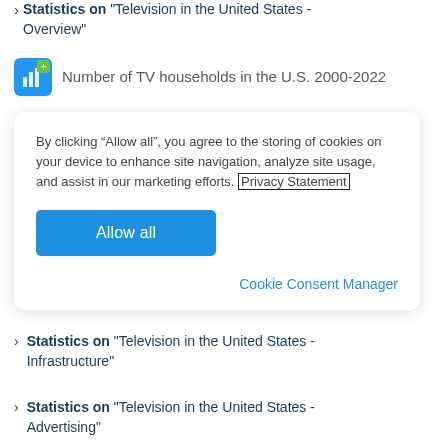Statistics on "Television in the United States - Overview"
Number of TV households in the U.S. 2000-2022
By clicking “Allow all”, you agree to the storing of cookies on your device to enhance site navigation, analyze site usage, and assist in our marketing efforts. Privacy Statement
Allow all
Cookie Consent Manager
Statistics on "Television in the United States - Infrastructure"
Statistics on "Television in the United States - Advertising"